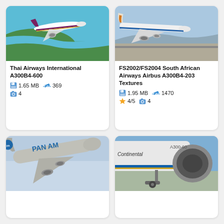[Figure (photo): Thai Airways A300B4-600 aircraft flying over water and green landscape]
Thai Airways International A300B4-600
1.65 MB  369  4
[Figure (photo): South African Airways Airbus A300B4-203 on runway]
FS2002/FS2004 South African Airways Airbus A300B4-203 Textures
1.95 MB  1470  4/5  4
[Figure (photo): Pan Am aircraft in flight against blue-grey sky]
[Figure (photo): Continental Airlines aircraft on tarmac, close-up of engines and fuselage]